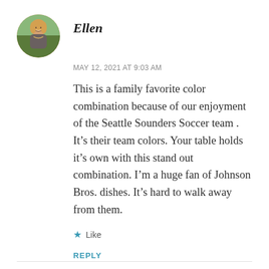[Figure (photo): Circular avatar photo of a smiling woman outdoors]
Ellen
MAY 12, 2021 AT 9:03 AM
This is a family favorite color combination because of our enjoyment of the Seattle Sounders Soccer team . It’s their team colors. Your table holds it’s own with this stand out combination. I’m a huge fan of Johnson Bros. dishes. It’s hard to walk away from them.
★ Like
REPLY